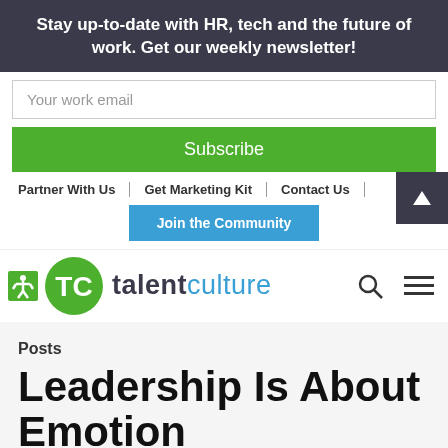Stay up-to-date with HR, tech and the future of work. Get our weekly newsletter!
Your work email
Subscribe
Partner With Us | Get Marketing Kit | Contact Us
Join the Community
[Figure (logo): TalentCulture logo with green TC circle icon and text 'talentculture' in teal/dark blue]
Posts
Leadership Is About Emotion